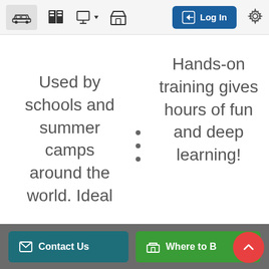[Figure (screenshot): Top navigation bar with car icon, book icon, presentation icon with dropdown arrow, store icon, blue Log In button, and gear settings icon]
Used by schools and summer camps around the world. Ideal
Hands-on training gives hours of fun and deep learning!
[Figure (other): Footer bar with teal Contact Us button, green Where to Buy button, and red scroll-to-top button with up arrow]